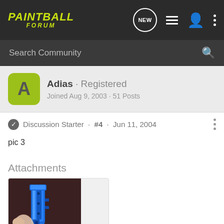PAINTBALL FORUM
Search Community
Adias · Registered
Joined Aug 9, 2003 · 51 Posts
Discussion Starter · #4 · Jun 11, 2004
pic 3
Attachments
[Figure (photo): A blue paintball marker/gun part held by someone, shown against a dark background. The component appears to be an anodized blue feedneck or body part.]